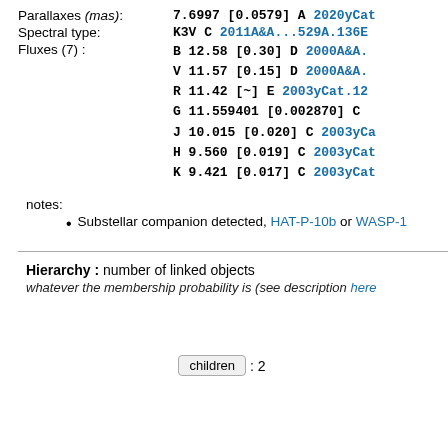Parallaxes (mas): 7.6997 [0.0579] A 2020yCat...
Spectral type: K3V C 2011A&A...529A.136E
Fluxes (7) : B 12.58 [0.30] D 2000A&A. | V 11.57 [0.15] D 2000A&A. | R 11.42 [~] E 2003yCat.12... | G 11.559401 [0.002870] C ... | J 10.015 [0.020] C 2003yCa... | H 9.560 [0.019] C 2003yCat... | K 9.421 [0.017] C 2003yCat...
notes:
Substellar companion detected, HAT-P-10b or WASP-...
Hierarchy : number of linked objects
whatever the membership probability is (see description here...
children : 2